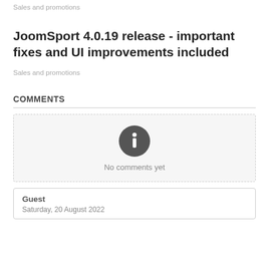Sales and promotions
JoomSport 4.0.19 release - important fixes and UI improvements included
Sales and promotions
COMMENTS
[Figure (infographic): Info icon circle with 'No comments yet' message inside a dashed border box]
Guest
Saturday, 20 August 2022